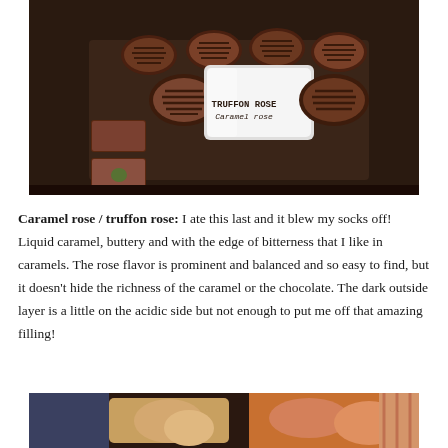[Figure (photo): Tray of dark chocolate truffles with a label card reading 'TRUFFON ROSE / Caramel rose']
Caramel rose / truffon rose: I ate this last and it blew my socks off! Liquid caramel, buttery and with the edge of bitterness that I like in caramels. The rose flavor is prominent and balanced and so easy to find, but it doesn't hide the richness of the caramel or the chocolate. The dark outside layer is a little on the acidic side but not enough to put me off that amazing filling!
[Figure (photo): Partial view of chocolates and confections at the bottom of the page]